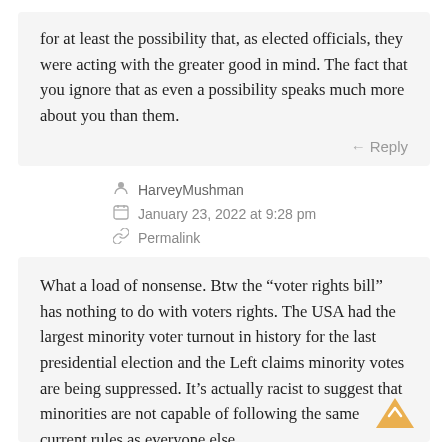for at least the possibility that, as elected officials, they were acting with the greater good in mind. The fact that you ignore that as even a possibility speaks much more about you than them.
Reply
HarveyMushman
January 23, 2022 at 9:28 pm
Permalink
What a load of nonsense. Btw the “voter rights bill” has nothing to do with voters rights. The USA had the largest minority voter turnout in history for the last presidential election and the Left claims minority votes are being suppressed. It’s actually racist to suggest that minorities are not capable of following the same current rules as everyone else.